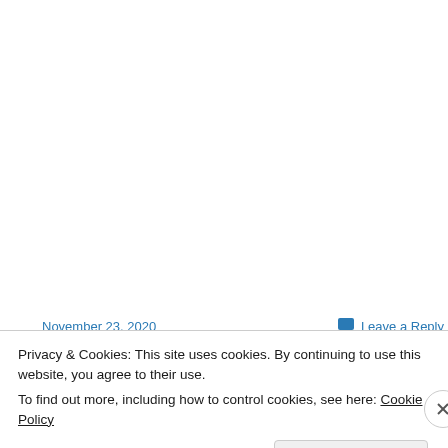November 23, 2020
Leave a Reply
Privacy & Cookies: This site uses cookies. By continuing to use this website, you agree to their use.
To find out more, including how to control cookies, see here: Cookie Policy
Close and accept